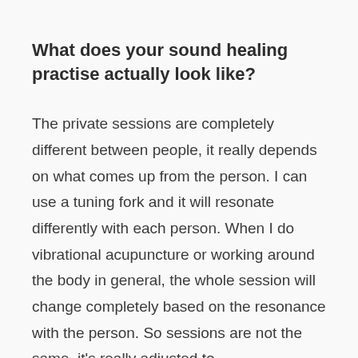What does your sound healing practise actually look like?
The private sessions are completely different between people, it really depends on what comes up from the person. I can use a tuning fork and it will resonate differently with each person. When I do vibrational acupuncture or working around the body in general, the whole session will change completely based on the resonance with the person. So sessions are not the same, it's really adjusted to